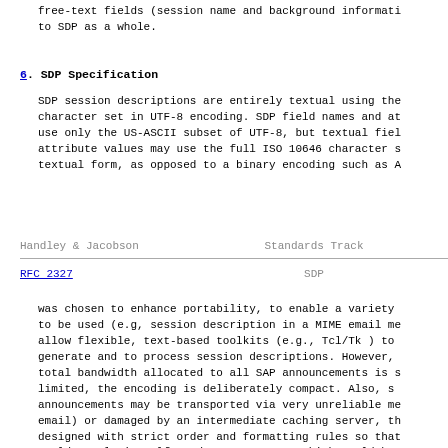free-text fields (session name and background informati
to SDP as a whole.
6.  SDP Specification
SDP session descriptions are entirely textual using the
character set in UTF-8 encoding. SDP field names and at
use only the US-ASCII subset of UTF-8, but textual fiel
attribute values may use the full ISO 10646 character s
textual form, as opposed to a binary encoding such as A
Handley & Jacobson                                    Standards Track
RFC 2327                                              SDP
was chosen to enhance portability, to enable a variety
to be used (e.g, session description in a MIME email me
allow flexible, text-based toolkits (e.g., Tcl/Tk ) to
generate and to process session descriptions.  However,
total bandwidth allocated to all SAP announcements is s
limited, the encoding is deliberately compact.  Also, s
announcements may be transported via very unreliable me
email) or damaged by an intermediate caching server, th
designed with strict order and formatting rules so that
would result in malformed announcements which could be
easily and discarded.  This also allows rapid discarding